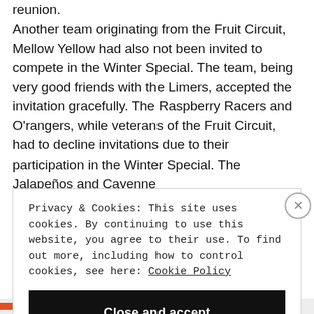reunion.
Another team originating from the Fruit Circuit, Mellow Yellow had also not been invited to compete in the Winter Special. The team, being very good friends with the Limers, accepted the invitation gracefully. The Raspberry Racers and O'rangers, while veterans of the Fruit Circuit, had to decline invitations due to their participation in the Winter Special. The Jalapeños and Cayenne
Privacy & Cookies: This site uses cookies. By continuing to use this website, you agree to their use. To find out more, including how to control cookies, see here: Cookie Policy
Close and accept